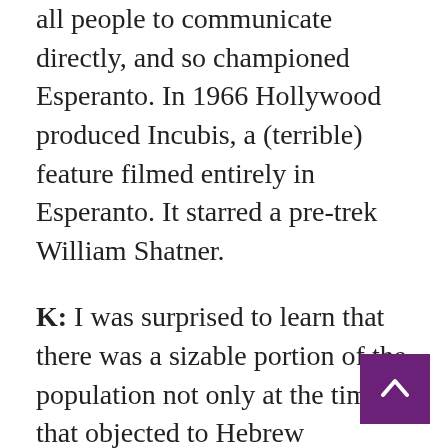all people to communicate directly, and so championed Esperanto. In 1966 Hollywood produced Incubis, a (terrible) feature filmed entirely in Esperanto. It starred a pre-trek William Shatner.
K: I was surprised to learn that there was a sizable portion of the population not only at the time that objected to Hebrew becoming the language franca, but that there are still people that feel this way. That Hebrew is the holy tongue and shouldn't be used for the mundane, it should be spoken and written only for